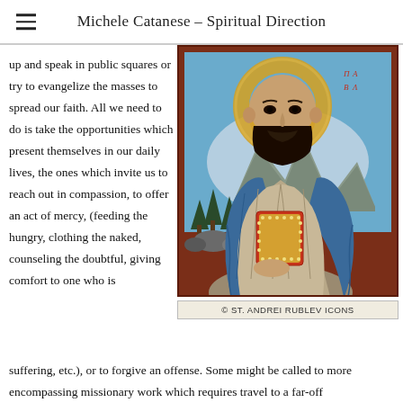Michele Catanese – Spiritual Direction
up and speak in public squares or try to evangelize the masses to spread our faith. All we need to do is take the opportunities which present themselves in our daily lives, the ones which invite us to reach out in compassion, to offer an act of mercy, (feeding the hungry, clothing the naked, counseling the doubtful, giving comfort to one who is
[Figure (illustration): Byzantine-style icon of a saint (apostle) depicted with a golden halo, blue robe, holding an illuminated gospel book, with mountains and trees in the background. Copyright St. Andrei Rublev Icons.]
© ST. ANDREI RUBLEV ICONS
suffering, etc.), or to forgive an offense. Some might be called to more encompassing missionary work which requires travel to a far-off